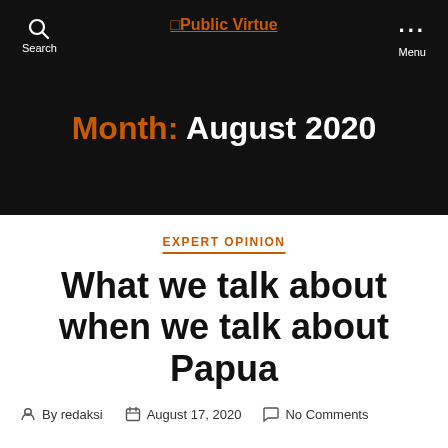Public Virtue
Month: August 2020
EXPERT OPINION
What we talk about when we talk about Papua
By redaksi   August 17, 2020   No Comments